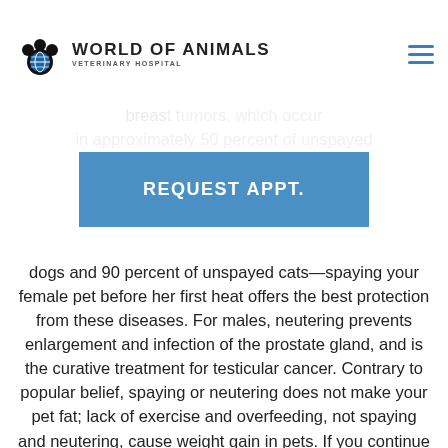WORLD OF ANIMALS VETERINARY HOSPITAL
fight with other animals. What's more, altering pets increases their risks of certain cancers and disease. Spaying helps prevent uterine infections and breast tumors, which occur in approximately 50 percent of unspayed dogs and 90 percent of unspayed cats—spaying your female pet before her first heat offers the best protection from these diseases. For males, neutering prevents enlargement and infection of the prostate gland, and is the curative treatment for testicular cancer. Contrary to popular belief, spaying or neutering does not make your pet fat; lack of exercise and overfeeding, not spaying and neutering, cause weight gain in pets. If you continue to provide proper diet and exercise, your pet will remain fit and trim.